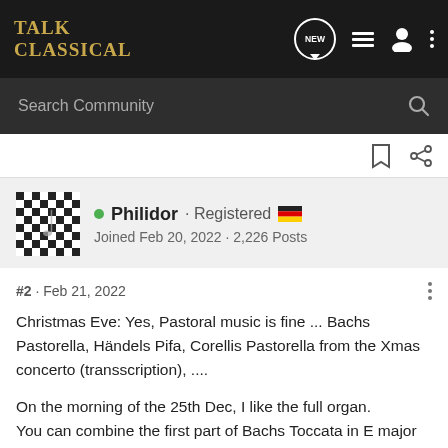Talk Classical
Search Community
Philidor · Registered 🇩🇪
Joined Feb 20, 2022 · 2,226 Posts
#2 · Feb 21, 2022
Christmas Eve: Yes, Pastoral music is fine ... Bachs Pastorella, Händels Pifa, Corellis Pastorella from the Xmas concerto (transscription), ....
On the morning of the 25th Dec, I like the full organ.
You can combine the first part of Bachs Toccata in E major with "Lobt Gott ihr Christen alle gleich" (BWV 732) in the same key,